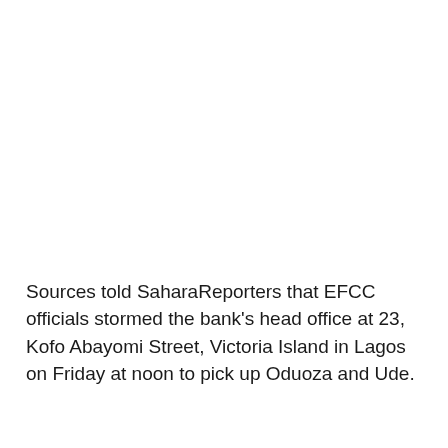Sources told SaharaReporters that EFCC officials stormed the bank's head office at 23, Kofo Abayomi Street, Victoria Island in Lagos on Friday at noon to pick up Oduoza and Ude.